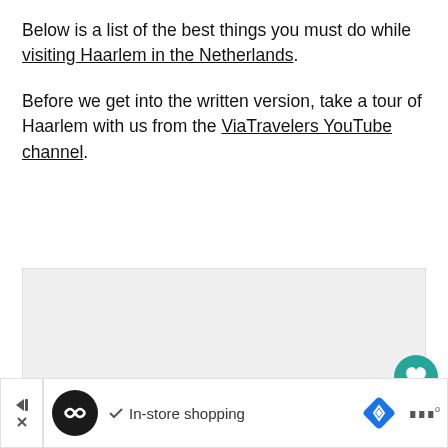Below is a list of the best things you must do while visiting Haarlem in the Netherlands. Before we get into the written version, take a tour of Haarlem with us from the ViaTravelers YouTube channel.
[Figure (other): Embedded video placeholder (light gray box)]
[Figure (other): Teal circular heart/favorite button and white circular share button on right side]
[Figure (other): Ad bar at bottom with skip controls, circular logo, checkmark, In-store shopping text, blue diamond navigation icon, and Wi-Fi style icon]